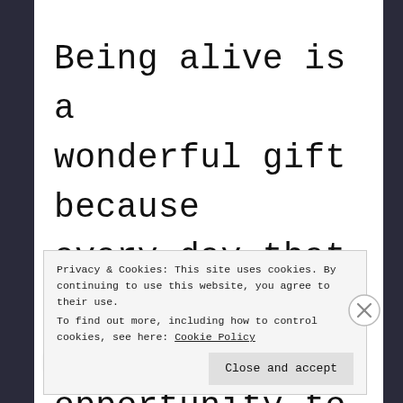Being alive is a wonderful gift because every day that we get to breathe is an opportunity to get
Privacy & Cookies: This site uses cookies. By continuing to use this website, you agree to their use.
To find out more, including how to control cookies, see here: Cookie Policy
Close and accept